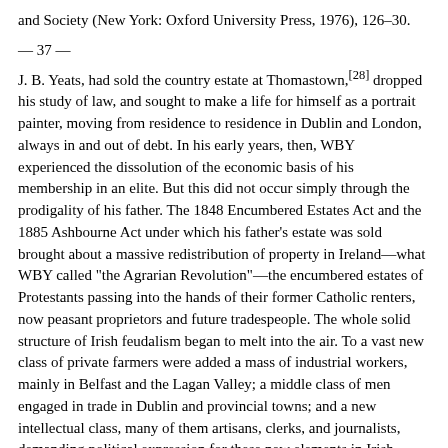and Society (New York: Oxford University Press, 1976), 126–30.
— 37 —
J. B. Yeats, had sold the country estate at Thomastown,[28] dropped his study of law, and sought to make a life for himself as a portrait painter, moving from residence to residence in Dublin and London, always in and out of debt. In his early years, then, WBY experienced the dissolution of the economic basis of his membership in an elite. But this did not occur simply through the prodigality of his father. The 1848 Encumbered Estates Act and the 1885 Ashbourne Act under which his father's estate was sold brought about a massive redistribution of property in Ireland—what WBY called "the Agrarian Revolution"—the encumbered estates of Protestants passing into the hands of their former Catholic renters, now peasant proprietors and future tradespeople. The whole solid structure of Irish feudalism began to melt into the air. To a vast new class of private farmers were added a mass of industrial workers, mainly in Belfast and the Lagan Valley; a middle class of men engaged in trade in Dublin and provincial towns; and a new intellectual class, many of them artisans, clerks, and journalists, demanding political expression for these new elements in Irish society.[29] In a few generations, Ireland changed from a society in which a small, basically Protestant, class possessed the means to attain individuality, while a huge inarticulate Catholic peasantry did not, to one in
[28] The Yeats estate was 560 English or American acres.